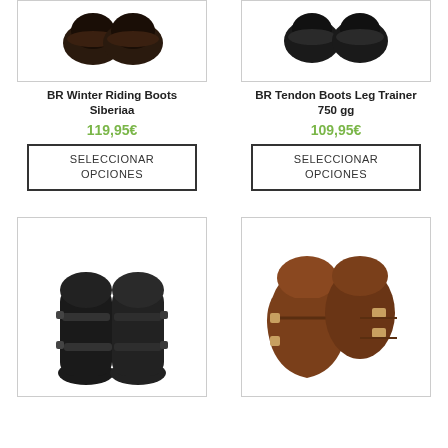[Figure (photo): BR Winter Riding Boots Siberiaa product photo - dark brown/black boots top view]
BR Winter Riding Boots Siberiaa
119,95€
SELECCIONAR OPCIONES
[Figure (photo): BR Tendon Boots Leg Trainer 750 gg product photo - black boots top view]
BR Tendon Boots Leg Trainer 750 gg
109,95€
SELECCIONAR OPCIONES
[Figure (photo): Black horse tendon/fetlock boots pair standing upright]
[Figure (photo): Brown leather horse boots pair with buckle straps]